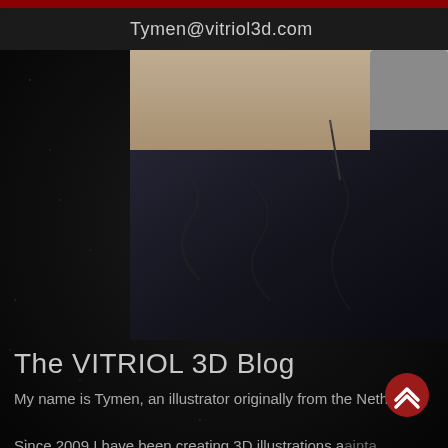Tymen@vitriol3d.com
[Figure (photo): Close-up photo of a person wearing a dark navy/black jacket, partially cropped, showing torso and shoulder area. Background shows a light-colored wall and a grey cushion.]
The VITRIOL 3D Blog
My name is Tymen, an illustrator originally from the Nether
Since 2009 I have been creating 3D illustrations a ainta